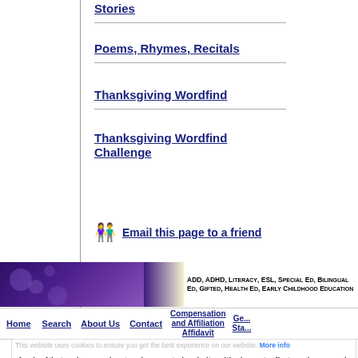Stories
Poems, Rhymes, Recitals
Thanksgiving Wordfind
Thanksgiving Wordfind Challenge
Email this page to a friend
[Figure (infographic): Purple and cream colored banner with small-caps text: ADD, ADHD, Literacy, ESL, Special Ed, Bilingual Ed, Gifted, Health Ed, Early Childhood Education]
Home | Search | About Us | Contact | Compensation and Affiliation Affidavit | Ge... Sta...
Apples4theteacher.com is a teacher created website with element... first grade, second grade, third grade, fourth grade, fifth grade and sixth g...
Copyright ©1999-2020
Owned and operated by Webstantaneous Web M...